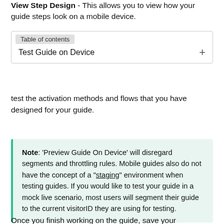View Step Design - This allows you to view how your guide steps look on a mobile device.
[Figure (screenshot): Table of contents UI element showing 'Test Guide on Device' row with a plus (+) button]
test the activation methods and flows that you have designed for your guide.
Note: 'Preview Guide On Device' will disregard segments and throttling rules. Mobile guides also do not have the concept of a "staging" environment when testing guides. If you would like to test your guide in a mock live scenario, most users will segment their guide to the current visitorID they are using for testing.
Once you finish working on the guide, save your